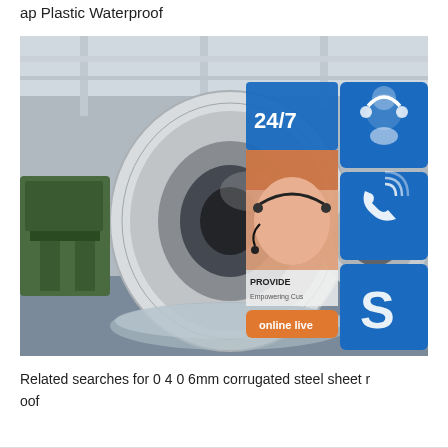ap Plastic Waterproof
[Figure (photo): Large steel coil rolls in an industrial factory setting with a customer service overlay showing 24/7 support, phone icon, Skype icon, a woman wearing a headset, 'PROVIDE Empowering Cus...' text, and 'online live' button]
Related searches for 0 4 0 6mm corrugated steel sheet roof